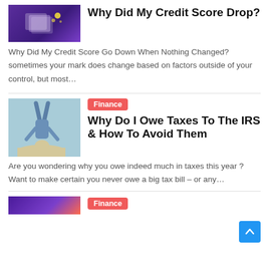[Figure (photo): Purple/violet graphic with documents and stars - credit score illustration]
Why Did My Credit Score Drop?
Why Did My Credit Score Go Down When Nothing Changed? sometimes your mark does change based on factors outside of your control, but most…
[Figure (photo): Person doing a handstand on a beach, head buried in sand]
Finance
Why Do I Owe Taxes To The IRS & How To Avoid Them
Are you wondering why you owe indeed much in taxes this year ? Want to make certain you never owe a big tax bill – or any…
[Figure (photo): Partial purple/orange image at bottom - Finance category article]
Finance